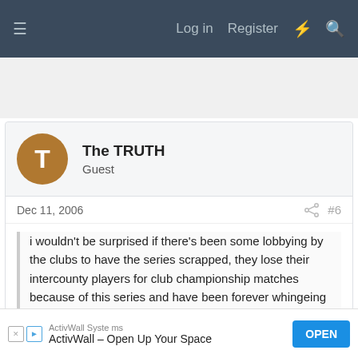≡  Log in  Register  ⚡  🔍
[Figure (other): Advertisement banner (blank/gray area)]
The TRUTH
Guest
Dec 11, 2006  #6
i wouldn't be surprised if there's been some lobbying by the clubs to have the series scrapped, they lose their intercounty players for club championship matches because of this series and have been forever whingeing about it, 2 pastings in a row might have something to do with it as well which is quite cowardly, somehow had we won those 2 series I doubt
[Figure (other): ActivWall Systems advertisement banner at bottom. Text: ActivWall Systems, ActivWall – Open Up Your Space, OPEN button]